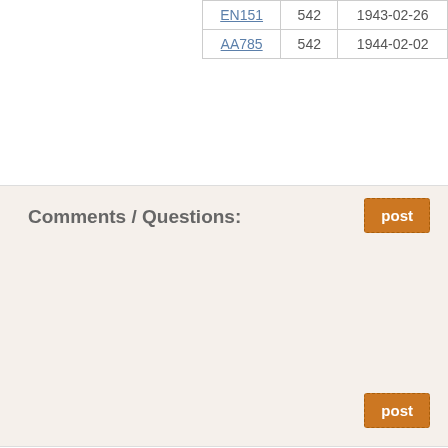| EN151 | 542 | 1943-02-26 |
| AA785 | 542 | 1944-02-02 |
Comments / Questions: